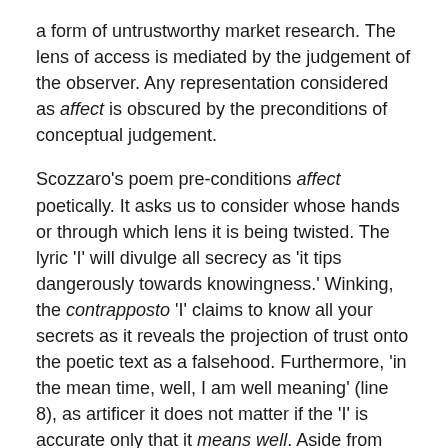a form of untrustworthy market research. The lens of access is mediated by the judgement of the observer. Any representation considered as affect is obscured by the preconditions of conceptual judgement.
Scozzaro's poem pre-conditions affect poetically. It asks us to consider whose hands or through which lens it is being twisted. The lyric 'I' will divulge all secrecy as 'it tips dangerously towards knowingness.' Winking, the contrapposto 'I' claims to know all your secrets as it reveals the projection of trust onto the poetic text as a falsehood. Furthermore, 'in the mean time, well, I am well meaning' (line 8), as artificer it does not matter if the 'I' is accurate only that it means well. Aside from being the paternal consolation upon the foolish, the 'I' asserts its own bias and moral falsehood by reinforcing its counterpoise where 'well meaning' also distinguishes knowingness from conceptual knowledge. In the book the knowingness of irony is a mode of dealing with facts based on intent rather than success, to be contrasted against success as a form of knowledge mastery.